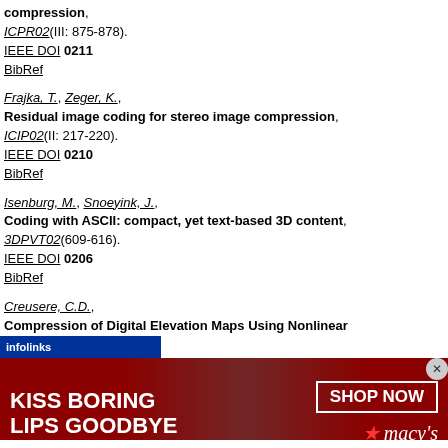compression, ICPR02(III: 875-878). IEEE DOI 0211 BibRef
Frajka, T., Zeger, K., Residual image coding for stereo image compression, ICIP02(II: 217-220). IEEE DOI 0210 BibRef
Isenburg, M., Snoeyink, J., Coding with ASCII: compact, yet text-based 3D content, 3DPVT02(609-616). IEEE DOI 0206 BibRef
Creusere, C.D., Compression of Digital Elevation Maps Using Nonlinear
[Figure (photo): Advertisement banner for Macy's cosmetics: dark red background with woman's face, 'KISS BORING LIPS GOODBYE' text on left, 'SHOP NOW' button and Macy's logo on right. Infolinks bar overlaid at top left.]